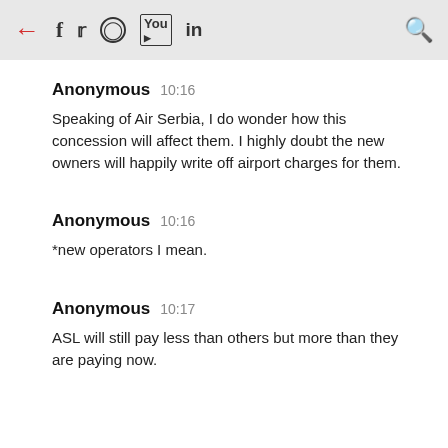← f  in [social icons] 🔍
Anonymous  10:16
Speaking of Air Serbia, I do wonder how this concession will affect them. I highly doubt the new owners will happily write off airport charges for them.
Anonymous  10:16
*new operators I mean.
Anonymous  10:17
ASL will still pay less than others but more than they are paying now.